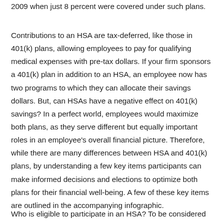2009 when just 8 percent were covered under such plans.
Contributions to an HSA are tax-deferred, like those in 401(k) plans, allowing employees to pay for qualifying medical expenses with pre-tax dollars. If your firm sponsors a 401(k) plan in addition to an HSA, an employee now has two programs to which they can allocate their savings dollars. But, can HSAs have a negative effect on 401(k) savings? In a perfect world, employees would maximize both plans, as they serve different but equally important roles in an employee's overall financial picture. Therefore, while there are many differences between HSA and 401(k) plans, by understanding a few key items participants can make informed decisions and elections to optimize both plans for their financial well-being. A few of these key items are outlined in the accompanying infographic.
Who is eligible to participate in an HSA? To be considered